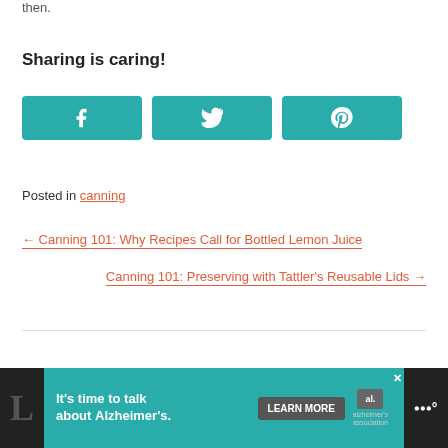then.
Sharing is caring!
[Figure (other): Three teal social share buttons: Facebook (f icon), Twitter (bird icon), Pinterest (p icon)]
Posted in canning
← Canning 101: Why Recipes Call for Bottled Lemon Juice
Canning 101: Preserving with Tattler's Reusable Lids →
[Figure (other): Advertisement bar: It's time to talk about Alzheimer's. LEARN MORE button. alzheimer's association logo. Close button.]